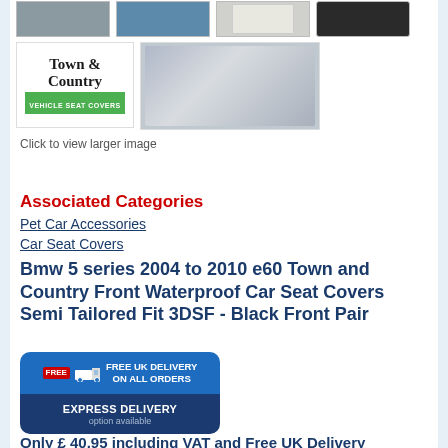[Figure (photo): Row of product thumbnail images: grey car seat cover, blue seat/headrest, product box, black cushion/seat]
[Figure (photo): Town & Country Vehicle Seat Covers logo and photo of white seat cover in car]
Click to view larger image
Associated Categories
Pet Car Accessories
Car Seat Covers
Bmw 5 series 2004 to 2010 e60 Town and Country Front Waterproof Car Seat Covers Semi Tailored Fit 3DSF - Black Front Pair
[Figure (infographic): Free UK Delivery on all orders / Express Delivery option available badge]
Only £ 40.95 including VAT and Free UK Delivery